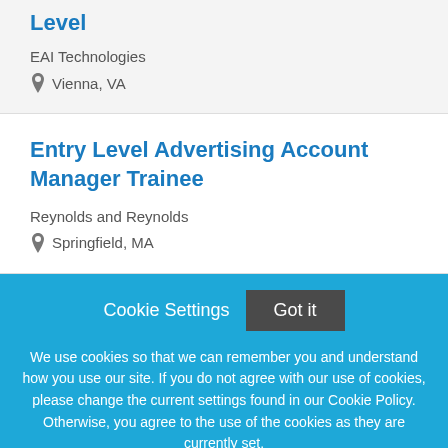Level
EAI Technologies
Vienna, VA
Entry Level Advertising Account Manager Trainee
Reynolds and Reynolds
Springfield, MA
Cookie Settings
Got it
We use cookies so that we can remember you and understand how you use our site. If you do not agree with our use of cookies, please change the current settings found in our Cookie Policy. Otherwise, you agree to the use of the cookies as they are currently set.